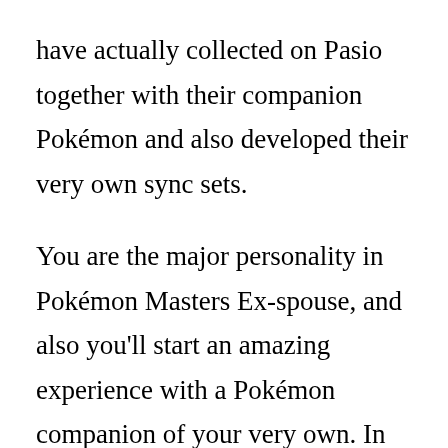have actually collected on Pasio together with their companion Pokémon and also developed their very own sync sets.
You are the major personality in Pokémon Masters Ex-spouse, and also you'll start an amazing experience with a Pokémon companion of your very own. In the process, you'll satisfy different Fitness instructors, make brand-new close friends, and also collaborate with them as you progress with